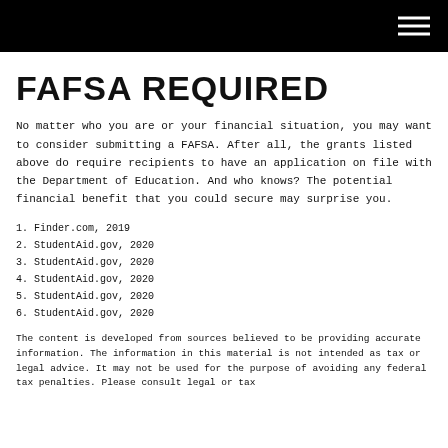FAFSA REQUIRED
No matter who you are or your financial situation, you may want to consider submitting a FAFSA. After all, the grants listed above do require recipients to have an application on file with the Department of Education. And who knows? The potential financial benefit that you could secure may surprise you.
1. Finder.com, 2019
2. StudentAid.gov, 2020
3. StudentAid.gov, 2020
4. StudentAid.gov, 2020
5. StudentAid.gov, 2020
6. StudentAid.gov, 2020
The content is developed from sources believed to be providing accurate information. The information in this material is not intended as tax or legal advice. It may not be used for the purpose of avoiding any federal tax penalties. Please consult legal or tax